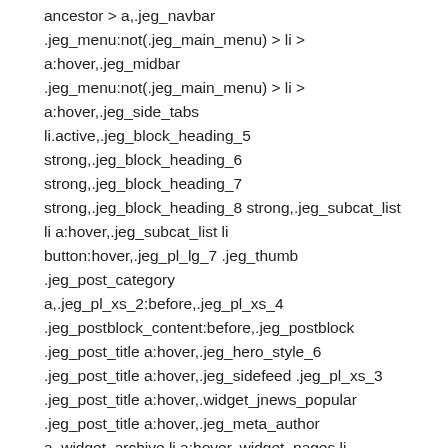ancestor > a,.jeg_navbar .jeg_menu:not(.jeg_main_menu) > li > a:hover,.jeg_midbar .jeg_menu:not(.jeg_main_menu) > li > a:hover,.jeg_side_tabs li.active,.jeg_block_heading_5 strong,.jeg_block_heading_6 strong,.jeg_block_heading_7 strong,.jeg_block_heading_8 strong,.jeg_subcat_list li a:hover,.jeg_subcat_list li button:hover,.jeg_pl_lg_7 .jeg_thumb .jeg_post_category a,.jeg_pl_xs_2:before,.jeg_pl_xs_4 .jeg_postblock_content:before,.jeg_postblock .jeg_post_title a:hover,.jeg_hero_style_6 .jeg_post_title a:hover,.jeg_sidefeed .jeg_pl_xs_3 .jeg_post_title a:hover,.widget_jnews_popular .jeg_post_title a:hover,.jeg_meta_author a,.widget_archive li a:hover,.widget_pages li a:hover,.widget_meta li a:hover,.widget_recent_entries li a:hover,.widget_rss li a:hover,.widget_rss cite,.widget_categories li a:hover,.widget_categories li.current-cat > a,#breadcrumbs a:hover,.jeg_share_count .counts,.commentlist .bypostauthor > .comment-body > .comment-author > .fn,span.required,.jeg_review_title,.bestprice .price,.authorlink